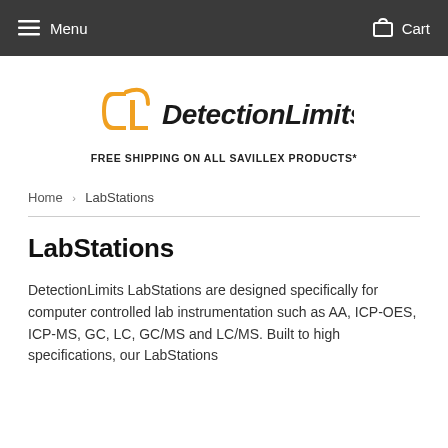Menu   Cart
[Figure (logo): DetectionLimits logo with orange DL icon and bold black text 'DetectionLimits']
FREE SHIPPING ON ALL SAVILLEX PRODUCTS*
Home › LabStations
LabStations
DetectionLimits LabStations are designed specifically for computer controlled lab instrumentation such as AA, ICP-OES, ICP-MS, GC, LC, GC/MS and LC/MS. Built to high specifications, our LabStations